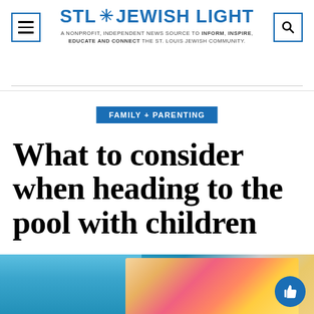STL Jewish Light — A nonprofit, independent news source to inform, inspire, educate and connect the St. Louis Jewish community
FAMILY + PARENTING
What to consider when heading to the pool with children
[Figure (photo): Photo of a child at a swimming pool with colorful inflatable pool toys, visible from chest area near pool edge with blue water in background]